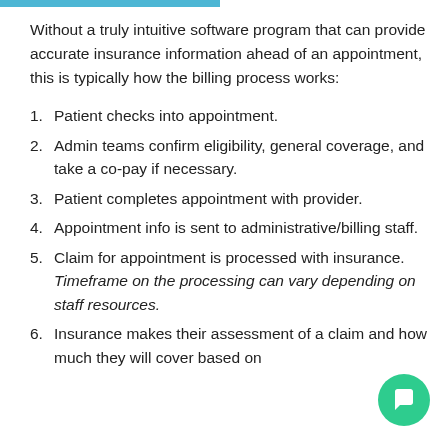Without a truly intuitive software program that can provide accurate insurance information ahead of an appointment, this is typically how the billing process works:
Patient checks into appointment.
Admin teams confirm eligibility, general coverage, and take a co-pay if necessary.
Patient completes appointment with provider.
Appointment info is sent to administrative/billing staff.
Claim for appointment is processed with insurance. Timeframe on the processing can vary depending on staff resources.
Insurance makes their assessment of a claim and how much they will cover based on